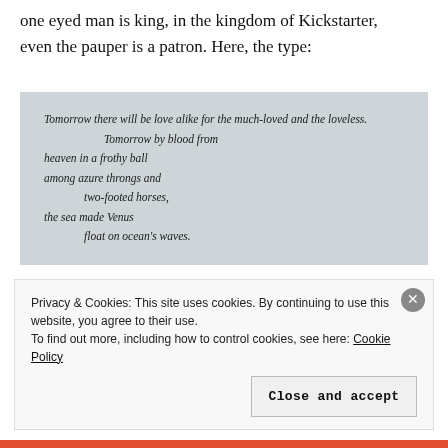one eyed man is king, in the kingdom of Kickstarter, even the pauper is a patron. Here, the type:
[Figure (illustration): A light blue-grey box containing calligraphic italic poem text: 'Tomorrow there will be love alike for the much-loved and the loveless. / Tomorrow by blood from / heaven in a frothy ball / among azure throngs and / two-footed horses, / the sea made Venus / float on ocean's waves.']
Privacy & Cookies: This site uses cookies. By continuing to use this website, you agree to their use.
To find out more, including how to control cookies, see here: Cookie Policy
Close and accept